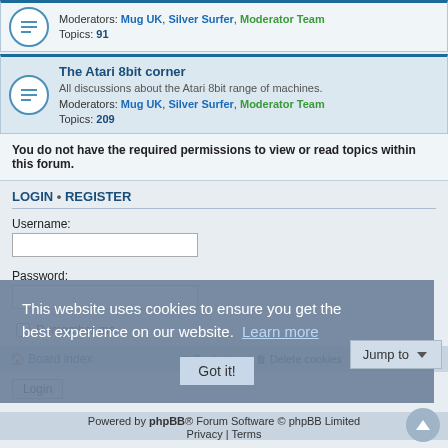Moderators: Mug UK, Silver Surfer, Moderator Team
Topics: 91
The Atari 8bit corner
All discussions about the Atari 8bit range of machines.
Moderators: Mug UK, Silver Surfer, Moderator Team
Topics: 209
You do not have the required permissions to view or read topics within this forum.
LOGIN • REGISTER
Username:
Password:
Remember me
Hide my online status this session
This website uses cookies to ensure you get the best experience on our website. Learn more
Board index | Contact us | Delete cookies | All times are UTC
Powered by phpBB® Forum Software © phpBB Limited
Privacy | Terms